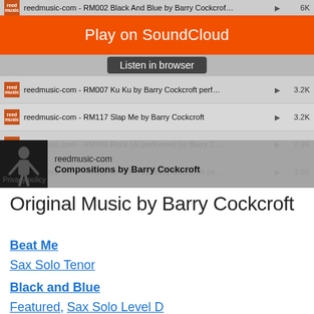[Figure (screenshot): SoundCloud embedded widget showing a playlist of Barry Cockcroft compositions. Orange 'Play on SoundCloud' banner at top, 'Listen in browser' pill, multiple track rows with play counts, and bottom bar showing 'reedmusic-com - Compositions by Barry Cockcroft'.]
Original Music by Barry Cockcroft
Beat Me
Sax Solo Tenor
Black and Blue
Featured, Sax Solo Level D